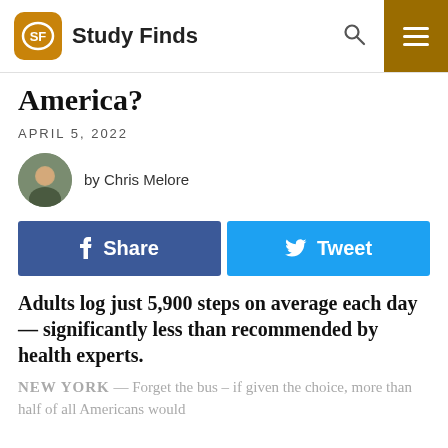Study Finds
America?
APRIL 5, 2022
by Chris Melore
[Figure (other): Facebook Share and Twitter Tweet social sharing buttons]
Adults log just 5,900 steps on average each day — significantly less than recommended by health experts.
NEW YORK — Forget the bus – if given the choice, more than half of all Americans would